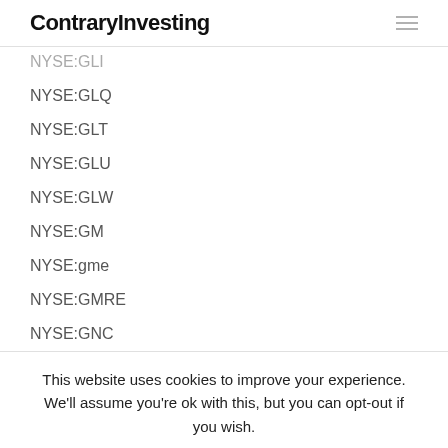ContraryInvesting
NYSE:GLI
NYSE:GLQ
NYSE:GLT
NYSE:GLU
NYSE:GLW
NYSE:GM
NYSE:gme
NYSE:GMRE
NYSE:GNC
This website uses cookies to improve your experience. We'll assume you're ok with this, but you can opt-out if you wish. Cookie settings ACCEPT